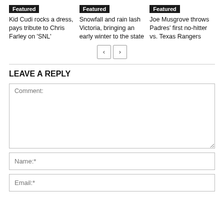Featured — Kid Cudi rocks a dress, pays tribute to Chris Farley on 'SNL'
Featured — Snowfall and rain lash Victoria, bringing an early winter to the state
Featured — Joe Musgrove throws Padres' first no-hitter vs. Texas Rangers
LEAVE A REPLY
Comment:
Name:*
Email:*